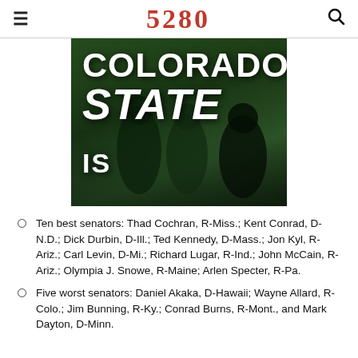5280
[Figure (photo): Photo of Colorado State University graduates in green caps and gowns, with large white bold text overlay reading 'COLORADO STATE IS']
Ten best senators: Thad Cochran, R-Miss.; Kent Conrad, D-N.D.; Dick Durbin, D-Ill.; Ted Kennedy, D-Mass.; Jon Kyl, R-Ariz.; Carl Levin, D-Mi.; Richard Lugar, R-Ind.; John McCain, R-Ariz.; Olympia J. Snowe, R-Maine; Arlen Specter, R-Pa.
Five worst senators: Daniel Akaka, D-Hawaii; Wayne Allard, R-Colo.; Jim Bunning, R-Ky.; Conrad Burns, R-Mont., and Mark Dayton, D-Minn.